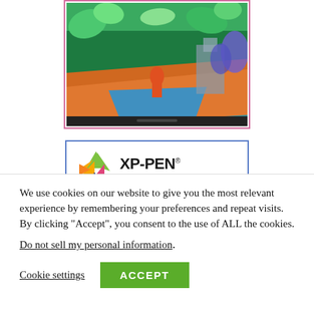[Figure (screenshot): Partial view of a drawing tablet displaying colorful jungle/fantasy digital artwork, shown inside a pink-bordered frame.]
[Figure (logo): XP-PEN logo with colorful triangles and text 'XP-PEN drawing different', followed by partial text 'Check Out' below.]
We use cookies on our website to give you the most relevant experience by remembering your preferences and repeat visits. By clicking “Accept”, you consent to the use of ALL the cookies.
Do not sell my personal information.
Cookie settings   ACCEPT